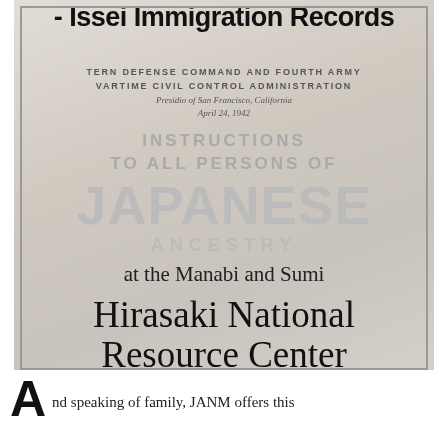[Figure (photo): Photograph of a display showing historical documents including a 'WESTERN DEFENSE COMMAND AND FOURTH ARMY WARTIME CIVIL CONTROL ADMINISTRATION' notice instructing persons of Japanese ancestry, dated April 24, 1942, displayed at the Manabi and Sumi Hirasaki National Resource Center.]
- Issei Immigration Records
WESTERN DEFENSE COMMAND AND FOURTH ARMY WARTIME CIVIL CONTROL ADMINISTRATION
Presidio of San Francisco, California
April 24, 1942
INSTRUCTIONS TO ALL PERSONS OF JAPANESE ANCESTRY
at the Manabi and Sumi
Hirasaki National Resource Center
And speaking of family, JANM offers this